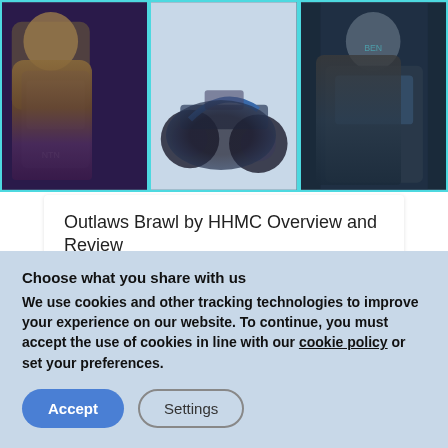[Figure (illustration): Three panel image strip showing anthropomorphic animal characters and a motorcycle with teal/cyan borders. Left: raccoon/fox character in purple outfit. Center: futuristic motorcycle. Right: dark-armored character.]
Outlaws Brawl by HHMC Overview and Review
[Figure (screenshot): Partial screenshot of a Bitcoin price chart with time range selectors (YTD, 1Y, 2Y, 5Y, 10Y, MAX) and a Bitcoin label button. Purple bar chart visible at bottom.]
Choose what you share with us
We use cookies and other tracking technologies to improve your experience on our website. To continue, you must accept the use of cookies in line with our cookie policy or set your preferences.